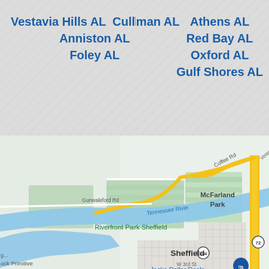[Figure (map): Google Maps screenshot showing Sheffield, Alabama area with the Tennessee River, McFarland Park, Riverfront Park Sheffield, Frank Lloyd Wright Rosenbaum House, Muscle Shoals Sound Studios, and Jacks Dollar Deals. Roads including Coffee Rd, Gunwaleford Rd, and highway markers 20, 72, and 184 visible.]
Vestavia Hills AL  Cullman AL
Anniston AL
Foley AL
Athens AL
Red Bay AL
Oxford AL
Gulf Shores AL